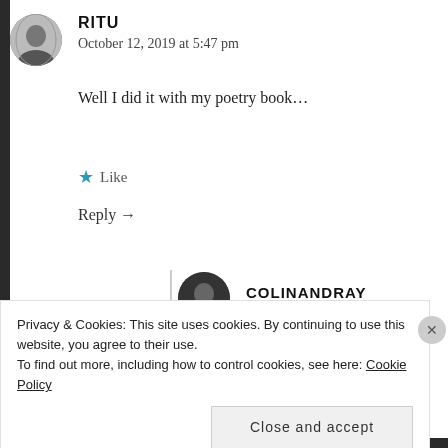RITU
October 12, 2019 at 5:47 pm
Well I did it with my poetry book...
★ Like
Reply →
COLINANDRAY
Privacy & Cookies: This site uses cookies. By continuing to use this website, you agree to their use.
To find out more, including how to control cookies, see here: Cookie Policy
Close and accept